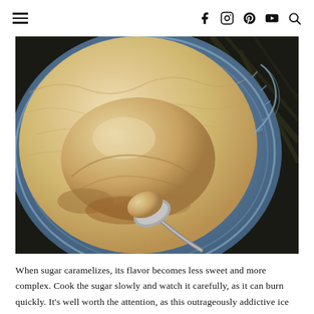☰  f  Instagram  Pinterest  YouTube  Search
[Figure (photo): Close-up overhead photo of caramel ice cream in a blue-rimmed ceramic bowl, with a metal spoon scooping out a large round scoop, showing the golden-tan ice cream texture against a dark wood background.]
When sugar caramelizes, its flavor becomes less sweet and more complex. Cook the sugar slowly and watch it carefully, as it can burn quickly. It's well worth the attention, as this outrageously addictive ice cream proves. A sprinkle of salt gives it even more impact.